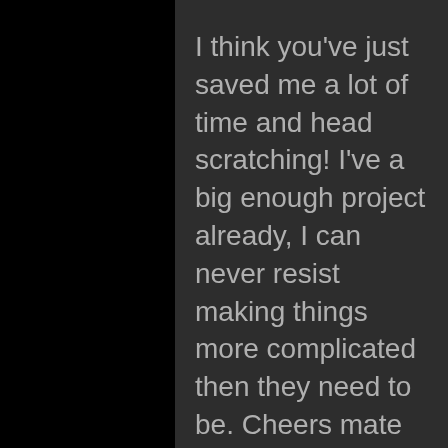I think you've just saved me a lot of time and head scratching! I've a big enough project already, I can never resist making things more complicated then they need to be. Cheers mate
REPLY
[Figure (photo): Circular avatar photo of a person, dark toned image]